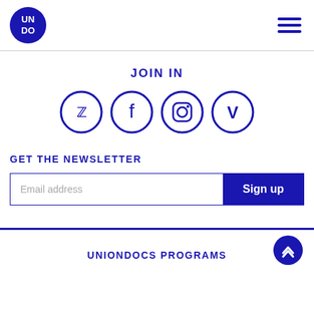[Figure (logo): UNDO circular logo in dark blue]
[Figure (other): Hamburger menu icon (three horizontal dark blue lines)]
JOIN IN
[Figure (other): Four social media icons in dark blue circles: Twitter, Facebook, Instagram, Vimeo]
GET THE NEWSLETTER
[Figure (other): Email address input field with Sign up button]
UNIONDOCS PROGRAMS